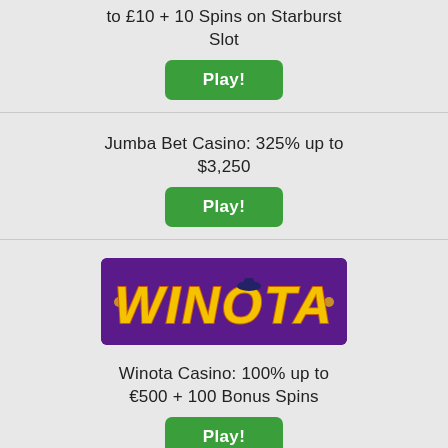to £10 + 10 Spins on Starburst Slot
Play!
Jumba Bet Casino: 325% up to $3,250
Play!
[Figure (logo): Winota Casino logo – yellow bubble letters on purple background]
Winota Casino: 100% up to €500 + 100 Bonus Spins
Play!
Dream Vegas Casino: 100% up to £300 + 150 Bonus Spins
Play!